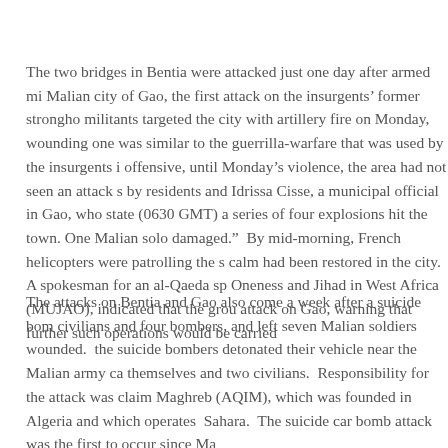The two bridges in Bentia were attacked just one day after armed mi... Malian city of Gao, the first attack on the insurgents' former strongho... militants targeted the city with artillery fire on Monday, wounding one... was similar to the guerrilla-warfare that was used by the insurgents i... offensive, until Monday's violence, the area had not seen an attack s... by residents and Idrissa Cisse, a municipal official in Gao, who state... (0630 GMT) a series of four explosions hit the town. One Malian solo... damaged."  By mid-morning, French helicopters were patrolling the s... calm had been restored in the city.  A spokesman for an al-Qaeda sp... Oneness and Jihad in West Africa (MUJAO), indicated that the grou... attack on Gao, warning that further such operations would be carried...
The attacks on Bentia and Gao also come a week after a suicide bom... civilians and four bombers, and left seven Malian soldiers wounded. ... the suicide bombers detonated their vehicle near the Malian army ca... themselves and two civilians.  Responsibility for the attack was claim... Maghreb (AQIM), which was founded in Algeria and which operates ... Sahara.  The suicide car bomb attack was the first to occur since Ma...